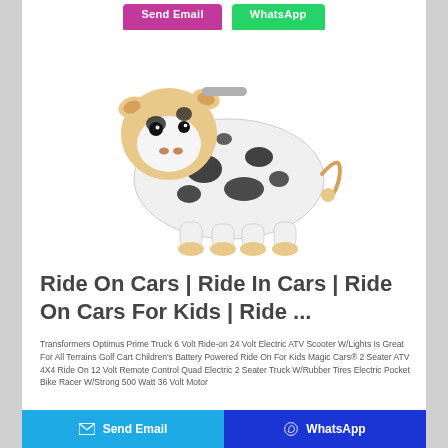[Figure (other): Top partial buttons: pink Send Email button and green WhatsApp button]
[Figure (photo): A plush cow ride-on toy with black and white spots, beige face and hooves, on a white background]
Ride On Cars | Ride In Cars | Ride On Cars For Kids | Ride ...
Transformers Optimus Prime Truck 6 Volt Ride-on 24 Volt Electric ATV Scooter W/Lights Is Great For All Terrains Golf Cart Children's Battery Powered Ride On For Kids Magic Cars® 2 Seater ATV 4X4 Ride On 12 Volt Remote Control Quad Electric 2 Seater Truck W/Rubber Tires Electric Pocket Bike Racer W/Strong 500 Watt 36 Volt Motor
[Figure (other): Bottom bar with two buttons: blue Send Email button with envelope icon, and dark blue WhatsApp button with WhatsApp icon]